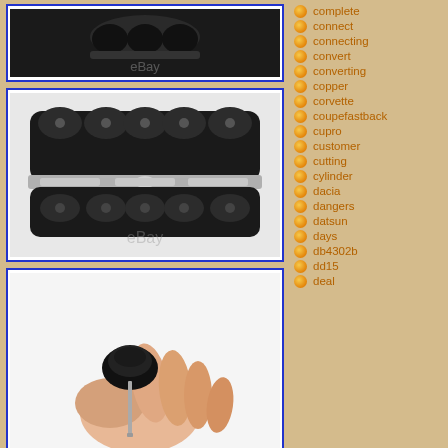[Figure (photo): Top photo: Close-up of a black automotive part with eBay watermark, shown in a blue-bordered frame.]
[Figure (photo): Middle photo: Top-down view of a black multi-cylinder engine component with silver metallic accents and eBay watermark, in a blue-bordered frame.]
[Figure (photo): Bottom photo: A hand holding a small black automotive part (possibly a valve or fitting) with a thin metal tube, in a blue-bordered frame.]
complete
connect
connecting
convert
converting
copper
corvette
coupefastback
cupro
customer
cutting
cylinder
dacia
dangers
datsun
days
db4302b
dd15
deal